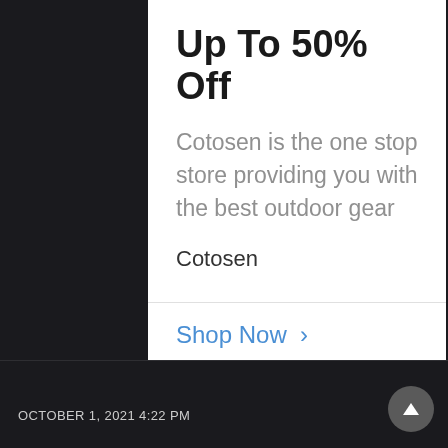Up To 50% Off
Cotosen is the one stop store providing you with the best outdoor gear
Cotosen
Shop Now >
OCTOBER 1, 2021 4:22 PM